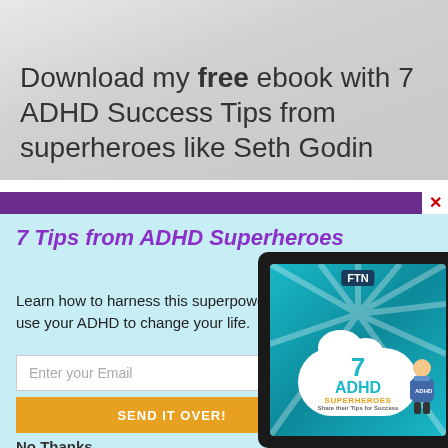Download my free ebook with 7 ADHD Success Tips from superheroes like Seth Godin and...
7 Tips from ADHD Superheroes
Learn how to harness this superpower and use your ADHD to change your life.
[Figure (illustration): Tablet device showing '7 ADHD Superheroes Share their Tips for Success' ebook cover with cartoon superhero and FTM logo on teal background with rays]
Enter your Email
SEND IT OVER!
No Thanks